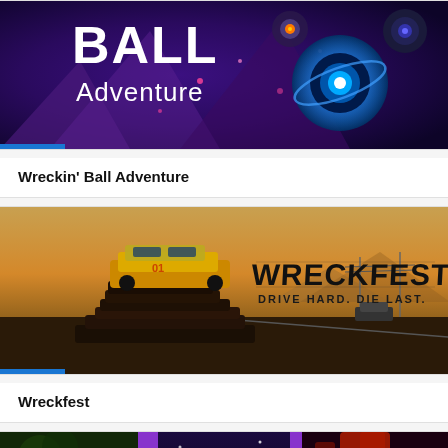[Figure (screenshot): Wreckin' Ball Adventure game banner with blue/purple space theme, glowing ball characters on dark background]
Wreckin' Ball Adventure
[Figure (screenshot): Wreckfest game banner showing a yellow car on top of a stack of wrecked cars, with WRECKFEST logo and tagline DRIVE HARD. DIE LAST.]
Wreckfest
[Figure (screenshot): Partial game banner with purple comic-panel style layout showing alien/sci-fi themed panels]